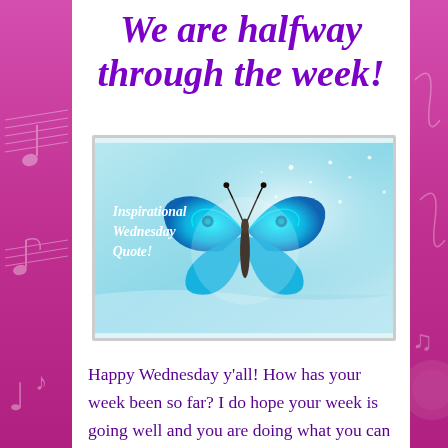We are halfway through the week!
[Figure (illustration): Inspirational Wednesday Quote graphic with a glowing cyan butterfly against a teal/light blue sparkly background, with italic white text reading 'Inspirational Wednesday Quote!' on the left side]
Happy Wednesday y'all! How has your week been so far? I do hope your week is going well and you are doing what you can to stay positive. We are in times right now where it can be easy to be